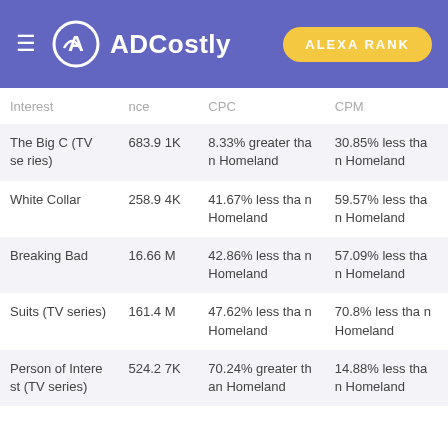ADCostly | ALEXA RANK
| Interest | nce | CPC | CPM |
| --- | --- | --- | --- |
| The Big C (TV series) | 683.91K | 8.33% greater than Homeland | 30.85% less than Homeland |
| White Collar | 258.94K | 41.67% less than Homeland | 59.57% less than Homeland |
| Breaking Bad | 16.66M | 42.86% less than Homeland | 57.09% less than Homeland |
| Suits (TV series) | 161.4M | 47.62% less than Homeland | 70.8% less than Homeland |
| Person of Interest (TV series) | 524.27K | 70.24% greater than Homeland | 14.88% less than Homeland |